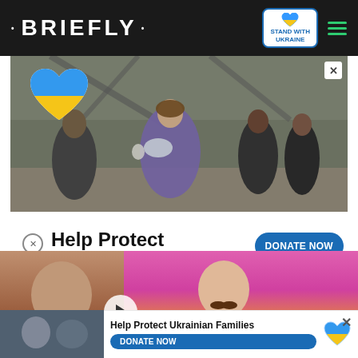• BRIEFLY •
[Figure (photo): Photo of people in war zone, a woman carrying a baby wrapped in purple cloth, men helping, destroyed bridge in background. Ukraine heart sticker overlay top left.]
Help Protect Ukrainian Families
DONATE NOW
[Figure (photo): Popup video overlay showing two men, one with mustache shirtless on pink background with fire emojis, one with mustache on left. Text bar: ISN'T HE A CATCH?]
osa encourages
[Figure (photo): Bottom ad bar: Help Protect Ukrainian Families with Ukraine heart, DONATE NOW button]
Help Protect Ukrainian Families
DONATE NOW